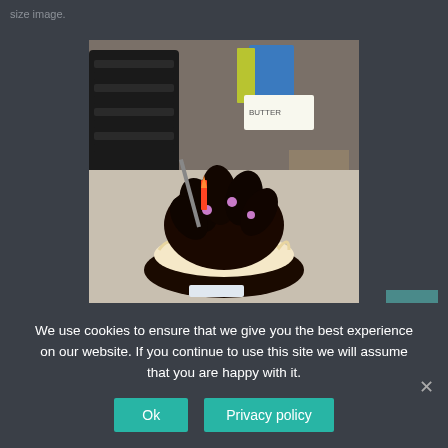size image.
[Figure (photo): A decorated bundt cake with dark chocolate frosting and purple flower decorations on top, sitting on a kitchen counter with stacked black plates and kitchen items visible in the background.]
We use cookies to ensure that we give you the best experience on our website. If you continue to use this site we will assume that you are happy with it.
Ok
Privacy policy